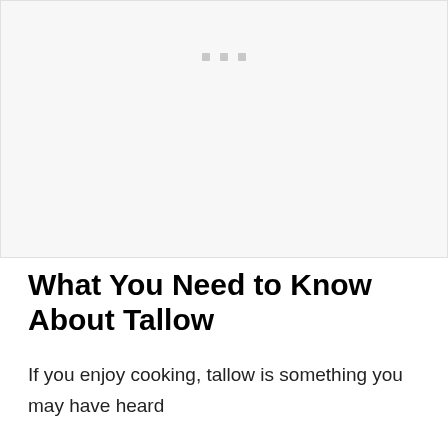[Figure (photo): Placeholder image area with light gray background and three small gray squares/dots centered near the top]
What You Need to Know About Tallow
If you enjoy cooking, tallow is something you may have heard